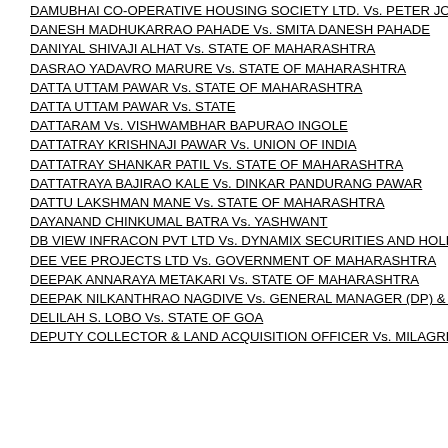DAMUBHAI CO-OPERATIVE HOUSING SOCIETY LTD. Vs. PETER JOHN DSOUZA
DANESH MADHUKARRAO PAHADE Vs. SMITA DANESH PAHADE
DANIYAL SHIVAJI ALHAT Vs. STATE OF MAHARASHTRA
DASRAO YADAVRO MARURE Vs. STATE OF MAHARASHTRA
DATTA UTTAM PAWAR Vs. STATE OF MAHARASHTRA
DATTA UTTAM PAWAR Vs. STATE
DATTARAM Vs. VISHWAMBHAR BAPURAO INGOLE
DATTATRAY KRISHNAJI PAWAR Vs. UNION OF INDIA
DATTATRAY SHANKAR PATIL Vs. STATE OF MAHARASHTRA
DATTATRAYA BAJIRAO KALE Vs. DINKAR PANDURANG PAWAR
DATTU LAKSHMAN MANE Vs. STATE OF MAHARASHTRA
DAYANAND CHINKUMAL BATRA Vs. YASHWANT
DB VIEW INFRACON PVT LTD Vs. DYNAMIX SECURITIES AND HOLDINGS PVT
DEE VEE PROJECTS LTD Vs. GOVERNMENT OF MAHARASHTRA
DEEPAK ANNARAYA METAKARI Vs. STATE OF MAHARASHTRA
DEEPAK NILKANTHRAO NAGDIVE Vs. GENERAL MANAGER (DP) & COMPETE
DELILAH S. LOBO Vs. STATE OF GOA
DEPUTY COLLECTOR & LAND ACQUISITION OFFICER Vs. MILAGRES DA COST